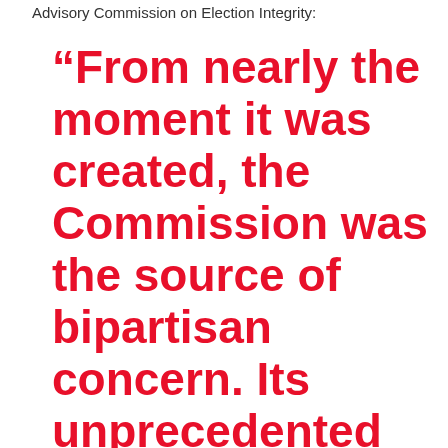Advisory Commission on Election Integrity:
“From nearly the moment it was created, the Commission was the source of bipartisan concern. Its unprecedented